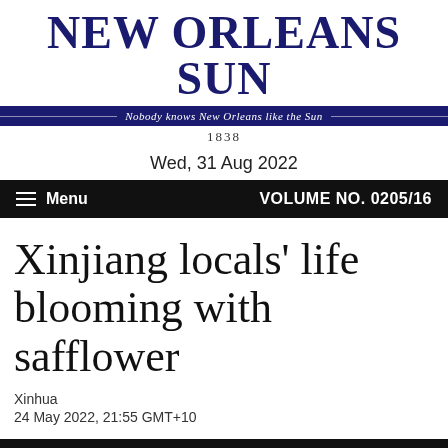NEW ORLEANS SUN
Nobody knows New Orleans like the Sun
1838
Wed, 31 Aug 2022
Menu   VOLUME NO. 0205/16
Xinjiang locals' life blooming with safflower
Xinhua
24 May 2022, 21:55 GMT+10
[Figure (photo): Partial view of an image strip at the bottom, showing a dark top band transitioning to blue, with a faint partial image visible]